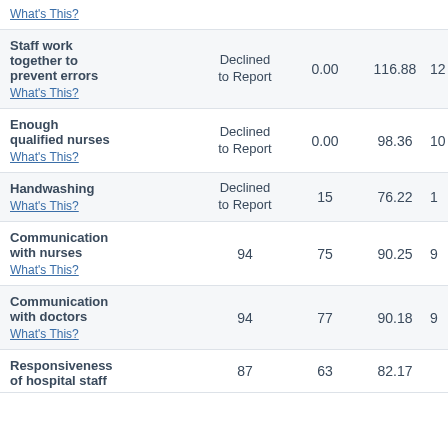| Measure | This Hospital | State Average | National Average |  |
| --- | --- | --- | --- | --- |
| What's This? |  |  |  |  |
| Staff work together to prevent errors
What's This? | Declined to Report | 0.00 | 116.88 | 12 |
| Enough qualified nurses
What's This? | Declined to Report | 0.00 | 98.36 | 10 |
| Handwashing
What's This? | Declined to Report | 15 | 76.22 | 1 |
| Communication with nurses
What's This? | 94 | 75 | 90.25 | 9 |
| Communication with doctors
What's This? | 94 | 77 | 90.18 | 9 |
| Responsiveness of hospital staff
What's This? | 87 | 63 | 82.17 |  |